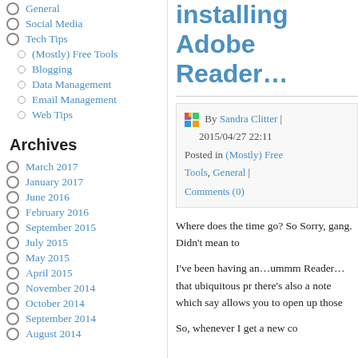General
Social Media
Tech Tips
(Mostly) Free Tools
Blogging
Data Management
Email Management
Web Tips
Archives
March 2017
January 2017
June 2016
February 2016
September 2015
July 2015
May 2015
April 2015
November 2014
October 2014
September 2014
August 2014
installing Adobe Reader…
By Sandra Clitter | 2015/04/27 22:11
Posted in (Mostly) Free Tools, General | Comments (0)
Where does the time go? So Sorry, gang. Didn't mean to
I've been having an…umm Reader…that ubiquitous pr there's also a note which say allows you to open up those
So, whenever I get a new co